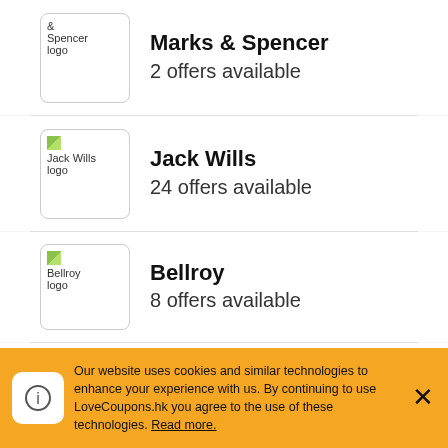Marks & Spencer — 2 offers available
Jack Wills — 24 offers available
Bellroy — 8 offers available
INTIMISSIMI
Our website uses cookies and similar technologies to enhance your experience with us. By continuing to use LoveCoupons.hk you agree to the use of these technologies. Read more.